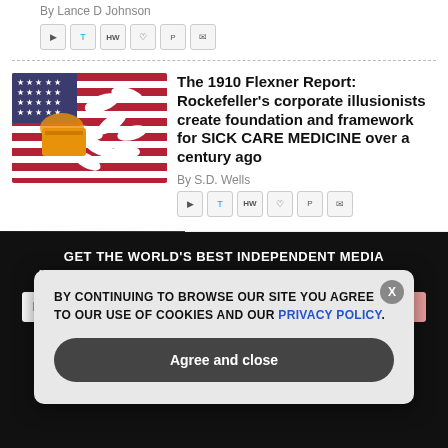By Lance D Johnson
[Figure (screenshot): Social sharing icons row: speaker, twitter, HW, heart, P, email]
The 1910 Flexner Report: Rockefeller's corporate illusionists create foundation and framework for SICK CARE MEDICINE over a century ago
By S.D. Wells
[Figure (photo): White pills spilled on an American flag]
[Figure (screenshot): Social sharing icons row: speaker, twitter, HW, heart, P, email]
[Figure (screenshot): Ad banner: BrighteonStore.com on left, Long-term storable NASCENT IODINE on right]
GET THE WORLD'S BEST INDEPENDENT MEDIA NEWSLETTER DELIVERED STRAIGHT TO YOUR INBOX.
Enter Your Email Address
SUBSCRIBE
BY CONTINUING TO BROWSE OUR SITE YOU AGREE TO OUR USE OF COOKIES AND OUR PRIVACY POLICY.
Agree and close
X